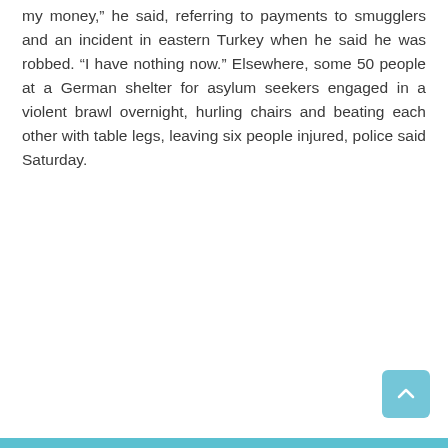my money,” he said, referring to payments to smugglers and an incident in eastern Turkey when he said he was robbed. “I have nothing now.” Elsewhere, some 50 people at a German shelter for asylum seekers engaged in a violent brawl overnight, hurling chairs and beating each other with table legs, leaving six people injured, police said Saturday.